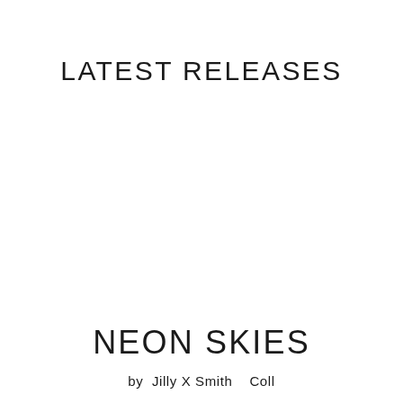LATEST RELEASES
NEON SKIES
by Jilly X Smith   Coll...